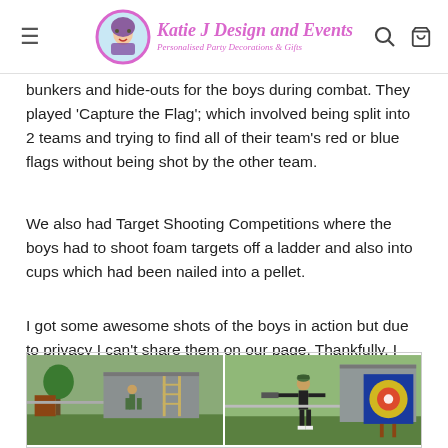Katie J Design and Events — Personalised Party Decorations & Gifts
bunkers and hide-outs for the boys during combat. They played 'Capture the Flag'; which involved being split into 2 teams and trying to find all of their team's red or blue flags without being shot by the other team.
We also had Target Shooting Competitions where the boys had to shoot foam targets off a ladder and also into cups which had been nailed into a pellet.
I got some awesome shots of the boys in action but due to privacy I can't share them on our page. Thankfully, I got the party boy to mock-up some shots for me the morning of the 'Big Day'.
[Figure (photo): Two side-by-side outdoor photos showing a backyard setup with a ladder, foam targets, and a boy shooting a foam dart gun toward a colorful target board.]